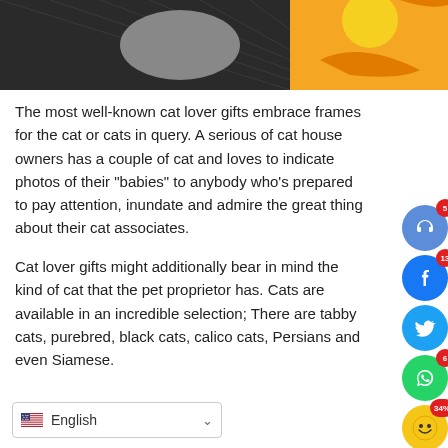[Figure (photo): Top portion of a cat photo on the left, with orange and yellow decorative brush strokes on the right]
The most well-known cat lover gifts embrace frames for the cat or cats in query. A serious of cat house owners has a couple of cat and loves to indicate photos of their "babies" to anybody who's prepared to pay attention, inundate and admire the great thing about their cat associates.
[Figure (infographic): Social media sharing buttons: headphones icon with badge 5, Facebook icon with badge 13, Twitter icon, WhatsApp icon with badge 6, emoji icon with badge 34%]
Cat lover gifts might additionally bear in mind the kind of cat that the pet proprietor has. Cats are available in an incredible selection; There are tabby cats, purebred, black cats, calico cats, Persians and even Siamese.
English